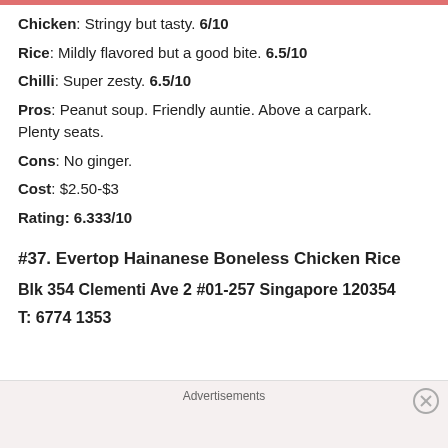Chicken: Stringy but tasty. 6/10
Rice: Mildly flavored but a good bite. 6.5/10
Chilli: Super zesty. 6.5/10
Pros: Peanut soup. Friendly auntie. Above a carpark. Plenty seats.
Cons: No ginger.
Cost: $2.50-$3
Rating: 6.333/10
#37. Evertop Hainanese Boneless Chicken Rice
Blk 354 Clementi Ave 2 #01-257 Singapore 120354
T: 6774 1353
Advertisements